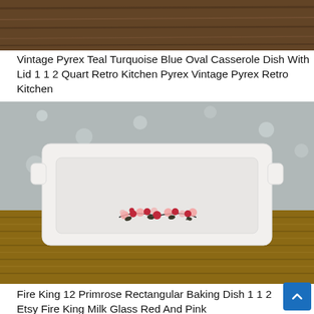[Figure (photo): Top portion of a wooden surface or product photo, cropped at the top of the page]
Vintage Pyrex Teal Turquoise Blue Oval Casserole Dish With Lid 1 1 2 Quart Retro Kitchen Pyrex Vintage Pyrex Retro Kitchen
[Figure (photo): White rectangular baking dish with red and pink floral pattern (primrose) on front, set on a woven mat against a speckled gray background]
Fire King 12 Primrose Rectangular Baking Dish 1 1 2 Etsy Fire King Milk Glass Red And Pink